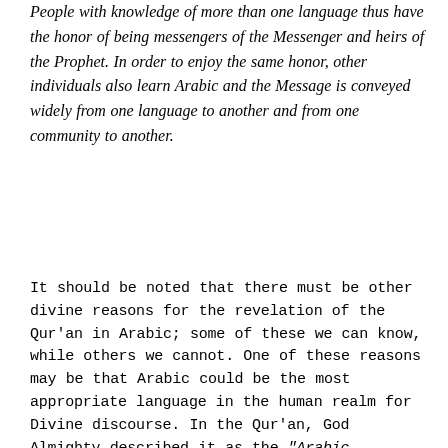People with knowledge of more than one language thus have the honor of being messengers of the Messenger and heirs of the Prophet. In order to enjoy the same honor, other individuals also learn Arabic and the Message is conveyed widely from one language to another and from one community to another.
It should be noted that there must be other divine reasons for the revelation of the Qur'an in Arabic; some of these we can know, while others we cannot. One of these reasons may be that Arabic could be the most appropriate language in the human realm for Divine discourse. In the Qur'an, God Almighty described it as the “Arabic Qur'an,” thus making the Arabic